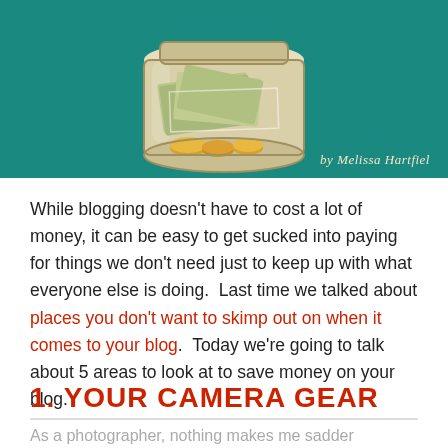[Figure (illustration): Illustration of a glass jar containing cash bills and gold coins on a teal/green background, by Melissa Hartfiel]
While blogging doesn't have to cost a lot of money, it can be easy to get sucked into paying for things we don't need just to keep up with what everyone else is doing.  Last time we talked about places you don't want to skimp out on when it comes to your blog.  Today we're going to talk about 5 areas to look at to save money on your blog.
1. YOUR CAMERA GEAR
As a photographer, nothing makes me sadder